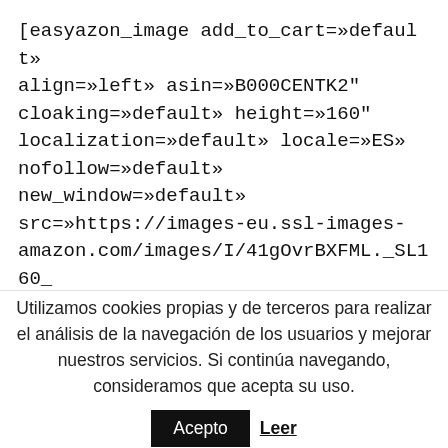[easyazon_image add_to_cart=»default» align=»left» asin=»B000CENTK2" cloaking=»default» height=»160" localization=»default» locale=»ES» nofollow=»default» new_window=»default» src=»https://images-eu.ssl-images-amazon.com/images/I/41gOvrBXFML._SL160_ tag=»httpprestcom-21" width=»85"]
[/vc_column_text][/vc_column]
Utilizamos cookies propias y de terceros para realizar el análisis de la navegación de los usuarios y mejorar nuestros servicios. Si continúa navegando, consideramos que acepta su uso.